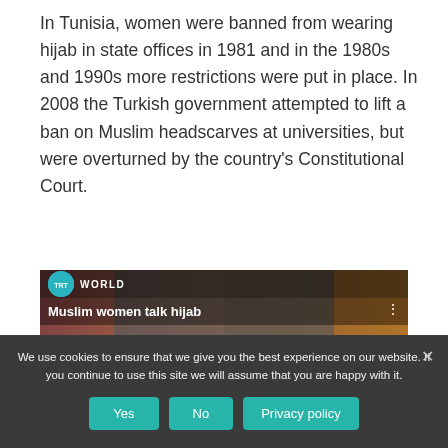In Tunisia, women were banned from wearing hijab in state offices in 1981 and in the 1980s and 1990s more restrictions were put in place. In 2008 the Turkish government attempted to lift a ban on Muslim headscarves at universities, but were overturned by the country's Constitutional Court.
[Figure (screenshot): TRT World video thumbnail showing Muslim women, with title 'Muslim women talk hijab' and large stylized text 'Muslim' overlaid]
We use cookies to ensure that we give you the best experience on our website. If you continue to use this site we will assume that you are happy with it.